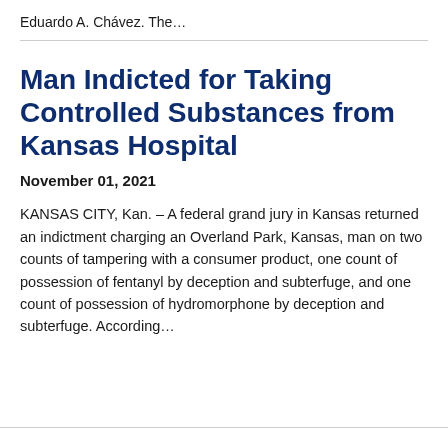Eduardo A. Chávez. The…
Man Indicted for Taking Controlled Substances from Kansas Hospital
November 01, 2021
KANSAS CITY, Kan. – A federal grand jury in Kansas returned an indictment charging an Overland Park, Kansas, man on two counts of tampering with a consumer product, one count of possession of fentanyl by deception and subterfuge, and one count of possession of hydromorphone by deception and subterfuge. According…